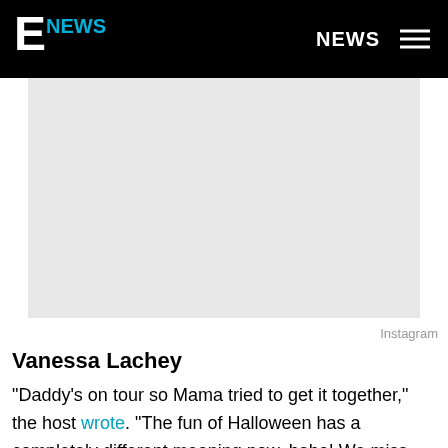E! NEWS | NEWS
[Figure (photo): Gray placeholder image area (Instagram photo)]
Instagram
Vanessa Lachey
"Daddy's on tour so Mama tried to get it together," the host wrote. "The fun of Halloween has a completely different meaning now, haha! We miss you Mr. Incredible! (Camden asked why my costume